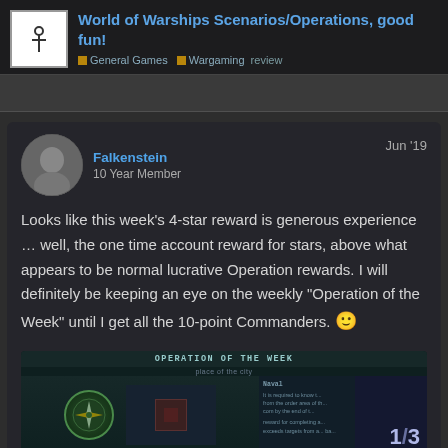World of Warships Scenarios/Operations, good fun! — General Games > Wargaming review
Falkenstein
10 Year Member
Jun '19

Looks like this week's 4-star reward is generous experience … well, the one time account reward for stars, above what appears to be normal lucrative Operation rewards. I will definitely be keeping an eye on the weekly "Operation of the Week" until I get all the 10-point Commanders. 🙂
[Figure (screenshot): Screenshot of World of Warships Operation of the Week UI, showing a compass emblem on left, a Naval operation description in middle, and page indicator 1/3 on right.]